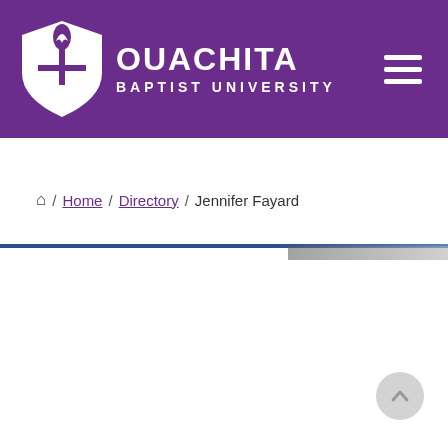[Figure (logo): Ouachita Baptist University logo with shield/torch icon and university name in white on purple header background]
Home / Directory / Jennifer Fayard
[Figure (photo): Partial photo strip visible at the top of a content section below the divider line]
[Figure (other): Scroll-to-top circular button in the bottom right corner]